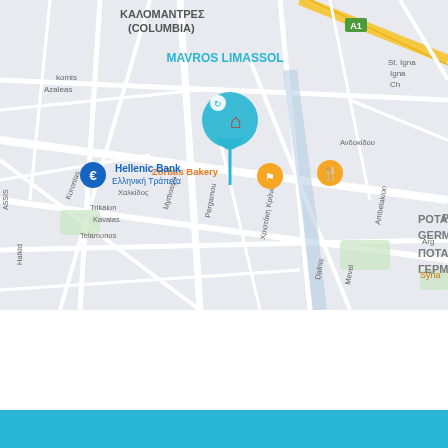[Figure (map): Google Maps screenshot showing Limassol area in Cyprus. Blue location pin with house icon labeled 'MAVROS LIMASSOL', Hellenic Bank marker, Zorbas Bakery, street names in Greek and English including Koronias, Trikalon, Kavalas, Telamonos, Χαλκίδος, Myrtiossis, Pergamou, Χριστάκη Κράνου, Ανδοκίδου, Ambelakion. Area label: POTAMOS TIS GERMASOGEIAS / ΠΟΤΑΜΟΣ ΤΗΣ ΓΕΡΜΑΣΟΓΕΙΑΣ. Road A1 visible in top right. Syriac church partially visible.]
Currently available for sale
All commercial properties for sale in Cyprus